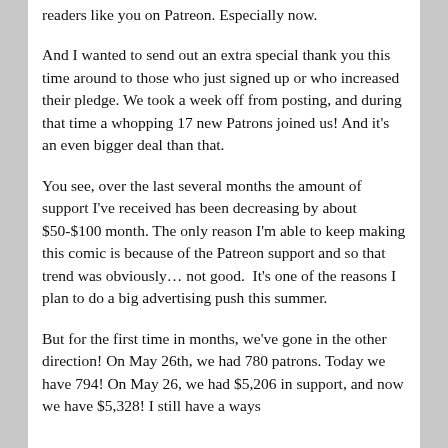readers like you on Patreon. Especially now.
And I wanted to send out an extra special thank you this time around to those who just signed up or who increased their pledge. We took a week off from posting, and during that time a whopping 17 new Patrons joined us! And it’s an even bigger deal than that.
You see, over the last several months the amount of support I’ve received has been decreasing by about $50-$100 month. The only reason I’m able to keep making this comic is because of the Patreon support and so that trend was obviously… not good.  It’s one of the reasons I plan to do a big advertising push this summer.
But for the first time in months, we’ve gone in the other direction! On May 26th, we had 780 patrons. Today we have 794! On May 26, we had $5,206 in support, and now we have $5,328! I still have a ways to go to get back to where i was on a given but this is